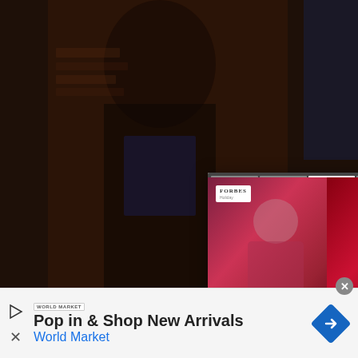[Figure (screenshot): Main background photo of a person in a dark room with brick walls, wearing a graphic top]
[Figure (screenshot): Popup card overlay showing a Forbes Holiday branded article preview with images of performers under red stage lighting, with navigation controls (close X, menu dots, forward arrow), and headline text]
Beyoncé Narrates New Gatorade Ad In Honor Of Serena Williams' Final U.S. O...
[Figure (screenshot): Advertisement banner for World Market with play and close icons on left, text 'Pop in & Shop New Arrivals / World Market', and a blue navigation arrow diamond icon on the right]